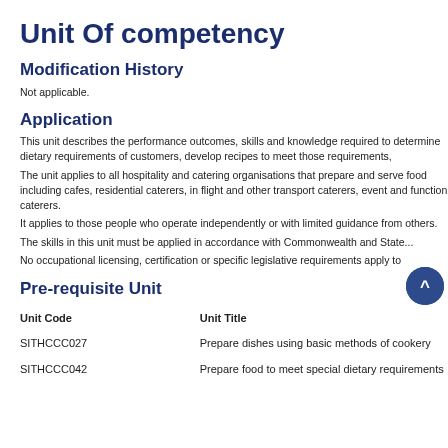Unit Of competency
Modification History
Not applicable.
Application
This unit describes the performance outcomes, skills and knowledge required to determine dietary requirements of customers, develop recipes to meet those requirements,
The unit applies to all hospitality and catering organisations that prepare and serve food including cafes, residential caterers, in flight and other transport caterers, event and function caterers.
It applies to those people who operate independently or with limited guidance from others.
The skills in this unit must be applied in accordance with Commonwealth and State...
No occupational licensing, certification or specific legislative requirements apply to
Pre-requisite Unit
| Unit Code | Unit Title |
| --- | --- |
| SITHCCC027 | Prepare dishes using basic methods of cookery |
| SITHCCC042 | Prepare food to meet special dietary requirements |